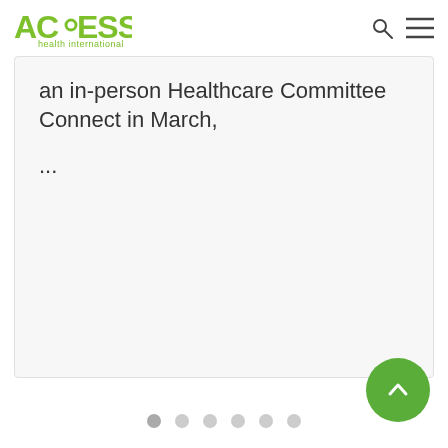[Figure (logo): ACCESS Health International green logo in the top left navigation bar]
an in-person Healthcare Committee Connect in March,
...
[Figure (other): Carousel pagination dots — 6 dots, first one active/darker]
[Figure (other): Green circular scroll-to-top button with upward chevron arrow]